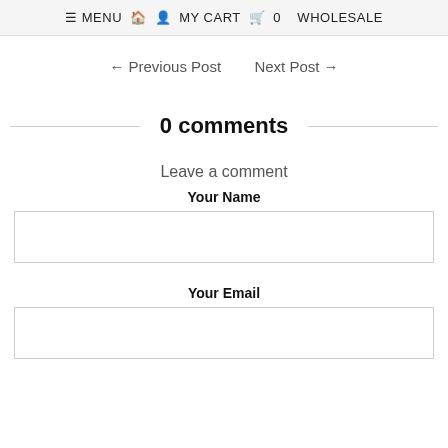≡ MENU 🏠 👤 MY CART 🛍 0 WHOLESALE
← Previous Post   Next Post →
0 comments
Leave a comment
Your Name
Your Email